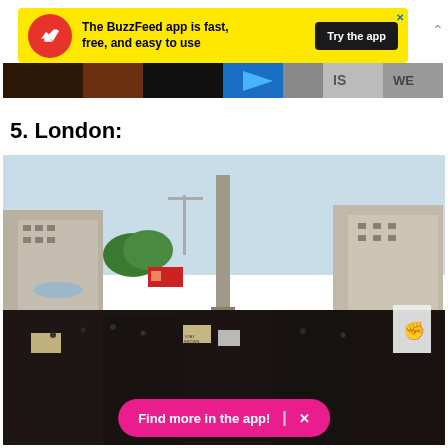[Figure (screenshot): BuzzFeed app advertisement banner with yellow background, red circular logo with white arrow, text 'The BuzzFeed app is fast, free, and easy to use', and black 'Try the app' button]
[Figure (photo): Partial cropped image strip showing protest signs and colorful imagery]
5. London:
[Figure (photo): Large crowd gathered at Trafalgar Square in London for a protest, with Nelson's Column visible in the center background, buildings on both sides, and protesters holding signs including one with a raised fist]
Find more in the app!